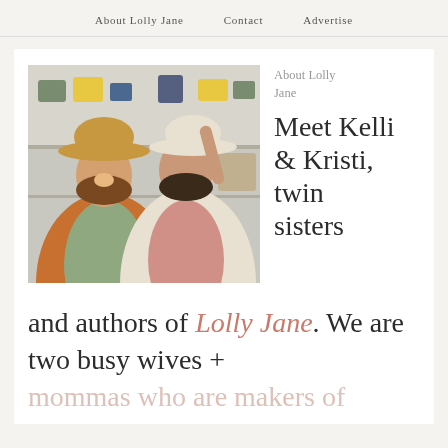About Lolly Jane   Contact   Advertise
[Figure (photo): Two women standing together in a store with shelves. The woman on the left wears an orange/rust knit cardigan over a sage green top and a tan wide-brim hat. The woman on the right wears a cream knit cardigan over a pink top and a white wide-brim hat.]
About Lolly Jane
Meet Kelli & Kristi, twin sisters
and authors of Lolly Jane. We are two busy wives + mommas who are makers of